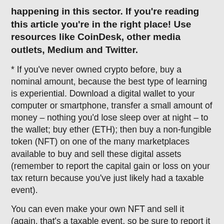happening in this sector. If you're reading this article you're in the right place! Use resources like CoinDesk, other media outlets, Medium and Twitter.
* If you've never owned crypto before, buy a nominal amount, because the best type of learning is experiential. Download a digital wallet to your computer or smartphone, transfer a small amount of money – nothing you'd lose sleep over at night – to the wallet; buy ether (ETH); then buy a non-fungible token (NFT) on one of the many marketplaces available to buy and sell these digital assets (remember to report the capital gain or loss on your tax return because you've just likely had a taxable event).
You can even make your own NFT and sell it (again, that's a taxable event, so be sure to report it to Uncle Sam). If you have some ETH left over, you can lend it out and earn more ETH – of course, the taxman gets a cut of that, too!
* Keep an open mind. Don't discount any ideas, and try to